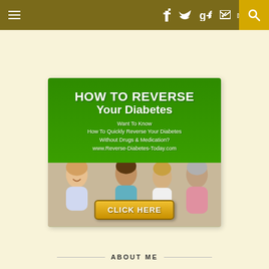Navigation bar with hamburger menu, social icons (f, twitter, g+, rss), and search
[Figure (advertisement): Advertisement banner: 'HOW TO REVERSE Your Diabetes - Want To Know How To Quickly Reverse Your Diabetes Without Drugs & Medication? www.Reverse-Diabetes-Today.com' with a photo of people and a CLICK HERE button]
ABOUT ME